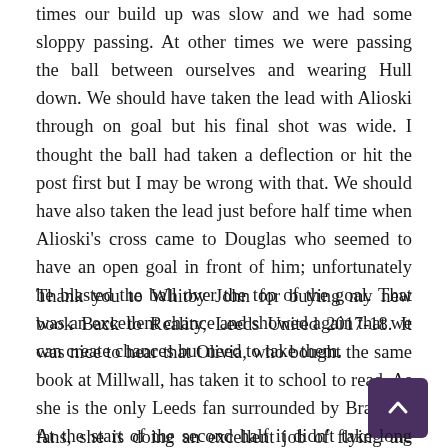times our build up was slow and we had some sloppy passing. At other times we were passing the ball between ourselves and wearing Hull down. We should have taken the lead with Alioski through on goal but his final shot was wide. I thought the ball had taken a deflection or hit the post first but I may be wrong with that. We should have also taken the lead just before half time when Alioski's cross came to Douglas who seemed to have an open goal in front of him; unfortunately he blasted the ball over the top of the goal. That was an excellent chance and showed again that we can create chances but need to take them.
Thank you to Whitby John for buying my new book Back to Reality, Leeds United 2017-18. It was nice to hear that Olivia, who bought the same book at Millwall, has taken it to school to read. As she is the only Leeds fan surrounded by Bradford fans, she is doing an excellent job of flying the flag for
At the start of the second half it didn't take long before we